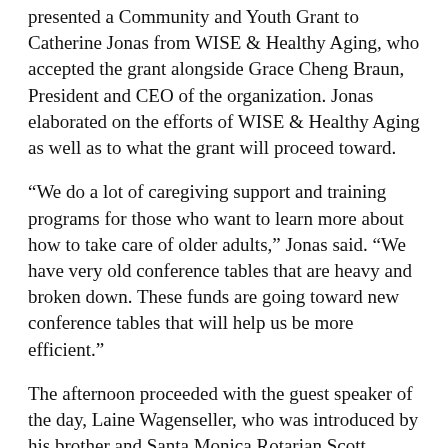presented a Community and Youth Grant to Catherine Jonas from WISE & Healthy Aging, who accepted the grant alongside Grace Cheng Braun, President and CEO of the organization. Jonas elaborated on the efforts of WISE & Healthy Aging as well as to what the grant will proceed toward.
“We do a lot of caregiving support and training programs for those who want to learn more about how to take care of older adults,” Jonas said. “We have very old conference tables that are heavy and broken down. These funds are going toward new conference tables that will help us be more efficient.”
The afternoon proceeded with the guest speaker of the day, Laine Wagenseller, who was introduced by his brother and Santa Monica Rotarian Scott.
Although Wagenseller works in real estate litigation in downtown Los Angeles, his topic was unrelated to his profession. As a member of the Rotary Club of Los Angeles, Wagenseller noted the significance of the